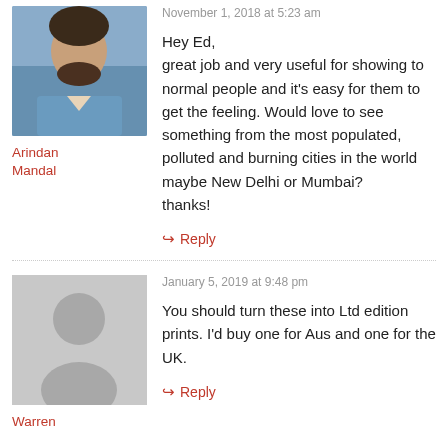[Figure (photo): Profile photo of Arindan Mandal — man in blue shirt]
Arindan Mandal
November 1, 2018 at 5:23 am
Hey Ed,
great job and very useful for showing to normal people and it's easy for them to get the feeling. Would love to see something from the most populated, polluted and burning cities in the world maybe New Delhi or Mumbai?
thanks!
↪ Reply
[Figure (illustration): Generic placeholder avatar (grey silhouette)]
Warren
January 5, 2019 at 9:48 pm
You should turn these into Ltd edition prints. I'd buy one for Aus and one for the UK.
↪ Reply